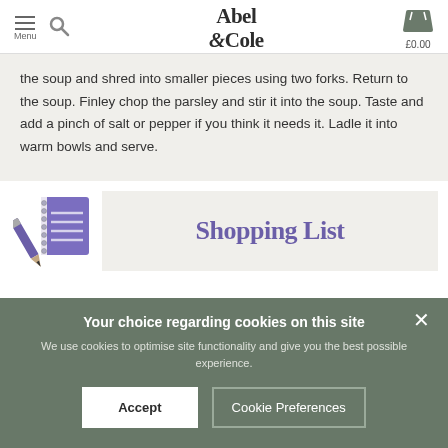Menu | Abel & Cole | £0.00
the soup and shred into smaller pieces using two forks. Return to the soup. Finley chop the parsley and stir it into the soup. Taste and add a pinch of salt or pepper if you think it needs it. Ladle it into warm bowls and serve.
[Figure (illustration): Notebook and pencil illustration in purple, next to a 'Shopping List' banner in purple text on a cream background]
Your choice regarding cookies on this site
We use cookies to optimise site functionality and give you the best possible experience.
Accept
Cookie Preferences